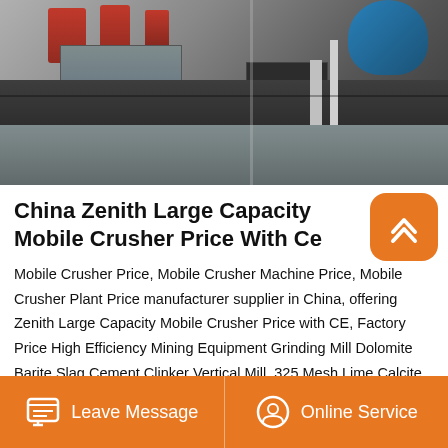[Figure (photo): Industrial mobile crusher machinery with red components, blue drum, gray metal boxes, pipes, and concrete base — outdoor factory/industrial setting]
China Zenith Large Capacity Mobile Crusher Price With Ce
Mobile Crusher Price, Mobile Crusher Machine Price, Mobile Crusher Plant Price manufacturer supplier in China, offering Zenith Large Capacity Mobile Crusher Price with CE, Factory Price High Efficiency Mining Equipment Grinding Mill Dolomite Barite Slag Cement Clinker Vertical Mill, 325 Mesh Lime Calcite Gypsum Kaolin Barite Raymond Mill Ultrafine Powder and so on.
Leave Message   Online Service